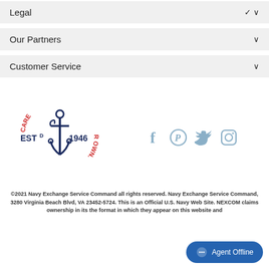Legal
Our Partners
Customer Service
[Figure (logo): Navy Exchange EST 1946 anchor logo with text TAKING CARE OF OUR OWN in red circular text]
[Figure (infographic): Social media icons: Facebook, Pinterest, Twitter, Instagram in muted blue]
©2021 Navy Exchange Service Command all rights reserved. Navy Exchange Service Command, 3280 Virginia Beach Blvd, VA 23452-5724. This is an Official U.S. Navy Web Site. NEXCOM claims ownership in its the format in which they appear on this website and